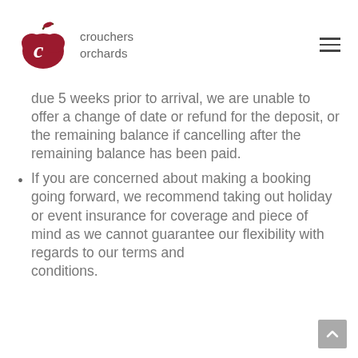crouchers orchards
due 5 weeks prior to arrival, we are unable to offer a change of date or refund for the deposit, or the remaining balance if cancelling after the remaining balance has been paid.
If you are concerned about making a booking going forward, we recommend taking out holiday or event insurance for coverage and piece of mind as we cannot guarantee our flexibility with regards to our terms and conditions.